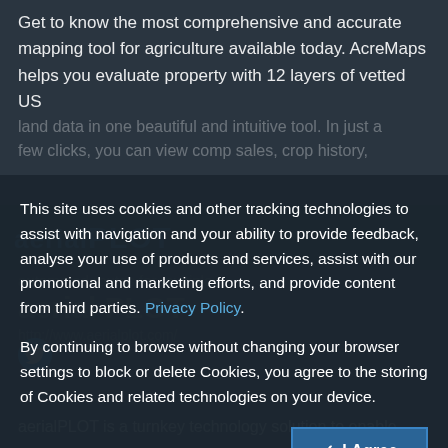Get to know the most comprehensive and accurate mapping tool for agriculture available today. AcreMaps helps you evaluate property with 12 layers of vetted US land data in one beautiful and intuitive tool. In just a few clicks, you can view comp sales, crop history,
[Figure (screenshot): Watermark/logo area showing 'aerialPLOT' text in dark teal/blue overlay]
This site uses cookies and other tracking technologies to assist with navigation and your ability to provide feedback, analyse your use of products and services, assist with our promotional and marketing efforts, and provide content from third parties. Privacy Policy.
By continuing to browse without changing your browser settings to block or delete Cookies, you agree to the storing of Cookies and related technologies on your device.
http://www.aerialplot.com/
[Figure (logo): Twitter bird icon in blue]
aerialPLOT is a turnkey technology solution to enable